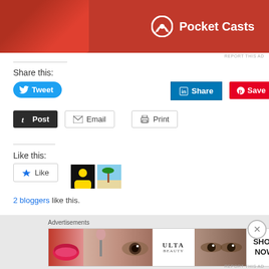[Figure (screenshot): Pocket Casts advertisement banner with red background and white Pocket Casts logo with podcast icon]
REPORT THIS AD
Share this:
[Figure (screenshot): Social sharing buttons: Tweet (Twitter/blue), LinkedIn Share, Pinterest Save, Tumblr Post, Email, Print]
Like this:
[Figure (screenshot): WordPress Like button widget with Like star button and two blogger avatars]
2 bloggers like this.
Related
[Figure (screenshot): Ulta Beauty advertisement banner with makeup imagery and SHOP NOW button]
Advertisements
REPORT THIS AD